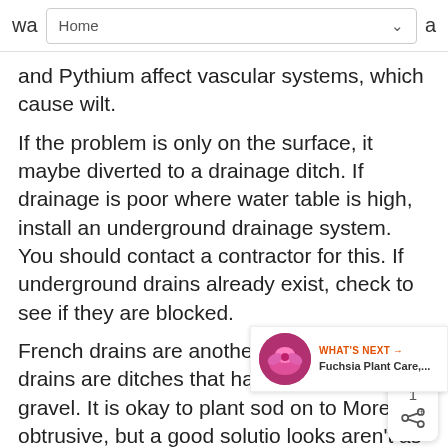wa   Home   a
and Pythium affect vascular systems, which cause wilt.
If the problem is only on the surface, it maybe diverted to a drainage ditch. If drainage is poor where water table is high, install an underground drainage system. You should contact a contractor for this. If underground drains already exist, check to see if they are blocked.

French drains are another option. French drains are ditches that have been filled wi gravel. It is okay to plant sod on to More obtrusive, but a good solutio looks aren't as important, think of the French